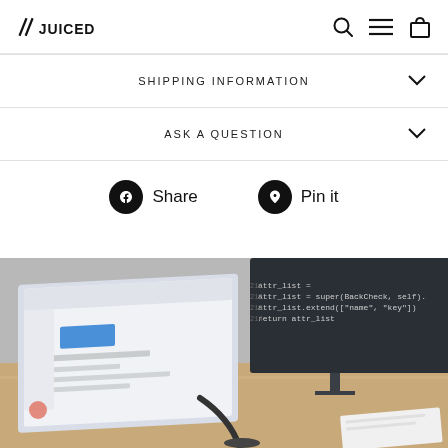JUICED [logo with search, menu, cart icons]
SHIPPING INFORMATION
ASK A QUESTION
Share   Pin it
[Figure (photo): Desk scene with a laptop/tablet showing a web interface and a monitor in the background displaying code, connected by a cable on a wooden desk surface.]